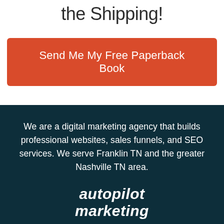the Shipping!
Send Me My Free Paperback Book
We are a digital marketing agency that builds professional websites, sales funnels, and SEO services. We serve Franklin TN and the greater Nashville TN area.
autopilot marketing